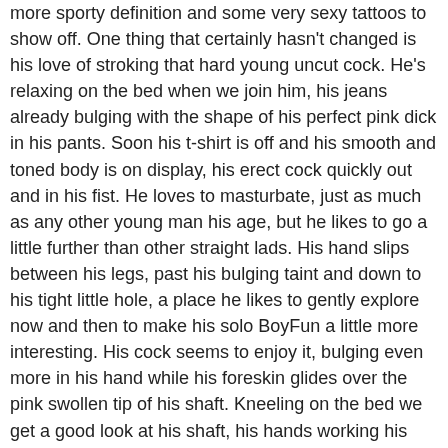more sporty definition and some very sexy tattoos to show off. One thing that certainly hasn't changed is his love of stroking that hard young uncut cock. He's relaxing on the bed when we join him, his jeans already bulging with the shape of his perfect pink dick in his pants. Soon his t-shirt is off and his smooth and toned body is on display, his erect cock quickly out and in his fist. He loves to masturbate, just as much as any other young man his age, but he likes to go a little further than other straight lads. His hand slips between his legs, past his bulging taint and down to his tight little hole, a place he likes to gently explore now and then to make his solo BoyFun a little more interesting. His cock seems to enjoy it, bulging even more in his hand while his foreskin glides over the pink swollen tip of his shaft. Kneeling on the bed we get a good look at his shaft, his hands working his length, caressing his balls, the pleasure washing through him in waves. He likes to take his time when he's jacking off, there's no quick tug and shooting with this boy. As he picks up the pace and lays back on the bed he closes his eyes and fondles a hard little nipple with his free hand. We don't know what he imagining, but it's clear he's edging himself closer to a wet and sticky climax. The rhythm of fast stroking and little pauses inches him nearer to the finish line, the orgasmic wave finally washing over as pump after pump of warm and milky cum splash from his tip to decorate his abs, semen pooling in his belly button and